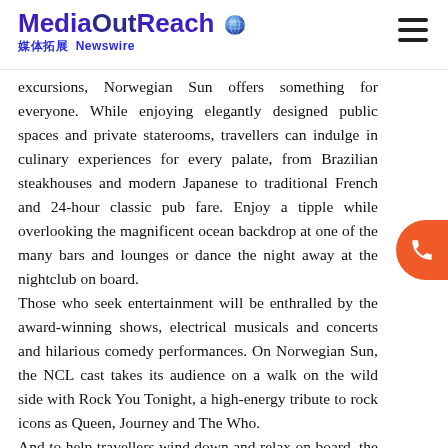MediaOutReach 媒体拓展 Newswire
excursions, Norwegian Sun offers something for everyone. While enjoying elegantly designed public spaces and private staterooms, travellers can indulge in culinary experiences for every palate, from Brazilian steakhouses and modern Japanese to traditional French and 24-hour classic pub fare. Enjoy a tipple while overlooking the magnificent ocean backdrop at one of the many bars and lounges or dance the night away at the nightclub on board.
Those who seek entertainment will be enthralled by the award-winning shows, electrical musicals and concerts and hilarious comedy performances. On Norwegian Sun, the NCL cast takes its audience on a walk on the wild side with Rock You Tonight, a high-energy tribute to rock icons as Queen, Journey and The Who.
And to help travellers wind down and relax on board, the Mandara Spa is a sanctuary which offers over 50